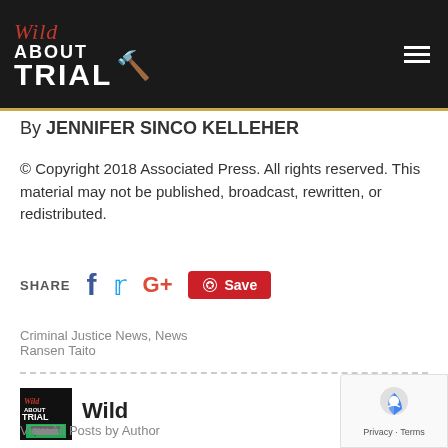[Figure (logo): Wild About Trial logo with gavel icon on dark background]
By JENNIFER SINCO KELLEHER
© Copyright 2018 Associated Press. All rights reserved. This material may not be published, broadcast, rewritten, or redistributed.
[Figure (infographic): Share buttons row: SHARE label, Facebook icon, Twitter icon, Google+ icon, Pinterest Save button]
Criminal Justice News, News
Ransen Taito
[Figure (logo): Wild About Trial small logo with courthouse]
Wild
View All Posts by Author